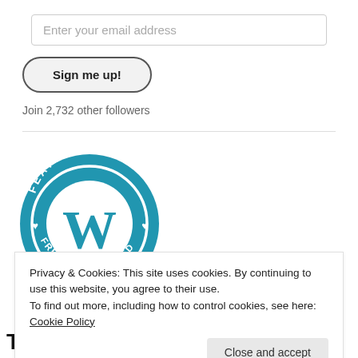Enter your email address
Sign me up!
Join 2,732 other followers
[Figure (logo): WordPress 'Featured On' circular badge in blue with white W logo and text 'FEATURED ON' at top and 'FRESHLY PRESSED' around bottom, with heart symbols on sides]
Privacy & Cookies: This site uses cookies. By continuing to use this website, you agree to their use.
To find out more, including how to control cookies, see here: Cookie Policy
Close and accept
T H E